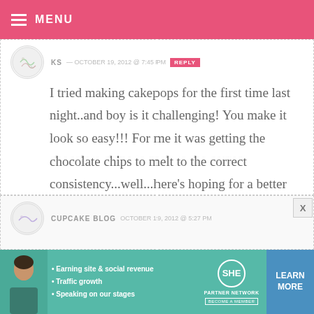MENU
KS — OCTOBER 19, 2012 @ 7:45 PM
I tried making cakepops for the first time last night..and boy is it challenging! You make it look so easy!!! For me it was getting the chocolate chips to melt to the correct consistency...well...here's hoping for a better performance next time. :-) Makes me appreciate you even more!
CUPCAKE BLOG — OCTOBER 19, 2012 @ 5:27 PM
[Figure (infographic): SHE Partner Network advertisement banner with photo, bullet points about Earning site & social revenue, Traffic growth, Speaking on our stages, SHE logo, and Learn More button]